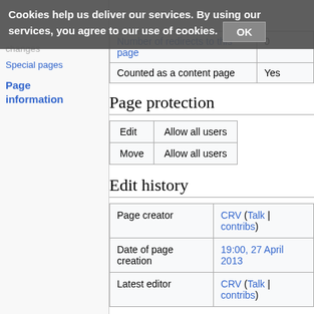Cookies help us deliver our services. By using our services, you agree to our use of cookies. OK
Special pages
Page information
|  |  |
| --- | --- |
| Number of redirects to this page | 0 |
| Counted as a content page | Yes |
Page protection
| Edit | Allow all users |
| --- | --- |
| Edit | Allow all users |
| Move | Allow all users |
Edit history
|  |  |
| --- | --- |
| Page creator | CRV (Talk | contribs) |
| Date of page creation | 19:00, 27 April 2013 |
| Latest editor | CRV (Talk | contribs) |